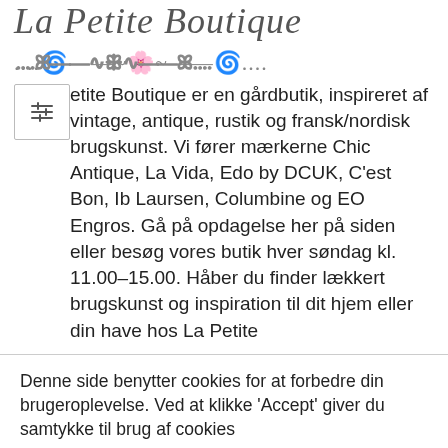La Petite Boutique
[Figure (illustration): Decorative ornamental divider with swirls and flourishes]
La Petite Boutique er en gårdbutik, inspireret af vintage, antique, rustik og fransk/nordisk brugskunst. Vi fører mærkerne Chic Antique, La Vida, Edo by DCUK, C'est Bon, Ib Laursen, Columbine og EO Engros. Gå på opdagelse her på siden eller besøg vores butik hver søndag kl. 11.00–15.00. Håber du finder lækkert brugskunst og inspiration til dit hjem eller din have hos La Petite
Denne side benytter cookies for at forbedre din brugeroplevelse. Ved at klikke 'Accept' giver du samtykke til brug af cookies
Cookie Settings
Accept All